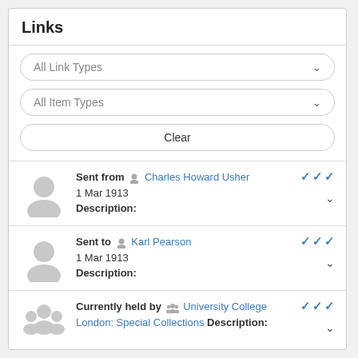Links
All Link Types
All Item Types
Clear
Sent from Charles Howard Usher
1 Mar 1913
Description:
Sent to Karl Pearson
1 Mar 1913
Description:
Currently held by University College London: Special Collections
Description: